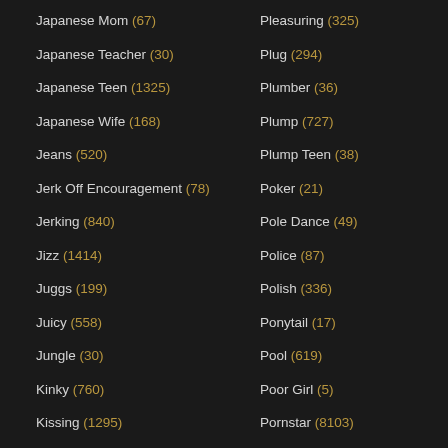Japanese Mom (67)
Japanese Teacher (30)
Japanese Teen (1325)
Japanese Wife (168)
Jeans (520)
Jerk Off Encouragement (78)
Jerking (840)
Jizz (1414)
Juggs (199)
Juicy (558)
Jungle (30)
Kinky (760)
Kissing (1295)
Kitchen (401)
Knockers (45)
Pleasuring (325)
Plug (294)
Plumber (36)
Plump (727)
Plump Teen (38)
Poker (21)
Pole Dance (49)
Police (87)
Polish (336)
Ponytail (17)
Pool (619)
Poor Girl (5)
Pornstar (8103)
Portuguese (305)
Posing (503)
Pre-cum (19)